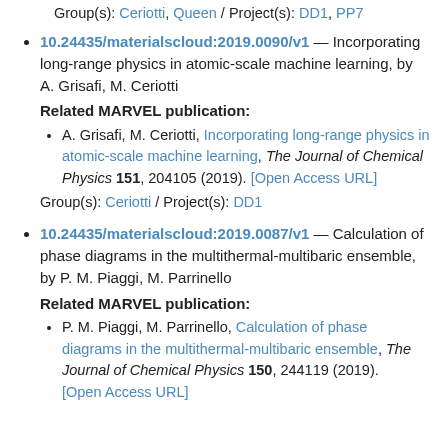Group(s): Ceriotti, Queen / Project(s): DD1, PP7
10.24435/materialscloud:2019.0090/v1 — Incorporating long-range physics in atomic-scale machine learning, by A. Grisafi, M. Ceriotti
Related MARVEL publication:
A. Grisafi, M. Ceriotti, Incorporating long-range physics in atomic-scale machine learning, The Journal of Chemical Physics 151, 204105 (2019). [Open Access URL]
Group(s): Ceriotti / Project(s): DD1
10.24435/materialscloud:2019.0087/v1 — Calculation of phase diagrams in the multithermal-multibaric ensemble, by P. M. Piaggi, M. Parrinello
Related MARVEL publication:
P. M. Piaggi, M. Parrinello, Calculation of phase diagrams in the multithermal-multibaric ensemble, The Journal of Chemical Physics 150, 244119 (2019). [Open Access URL]